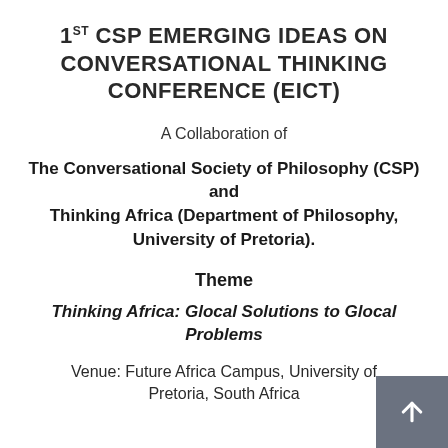1ST CSP EMERGING IDEAS ON CONVERSATIONAL THINKING CONFERENCE (EICT)
A Collaboration of
The Conversational Society of Philosophy (CSP) and Thinking Africa (Department of Philosophy, University of Pretoria).
Theme
Thinking Africa: Glocal Solutions to Glocal Problems
Venue: Future Africa Campus, University of Pretoria, South Africa